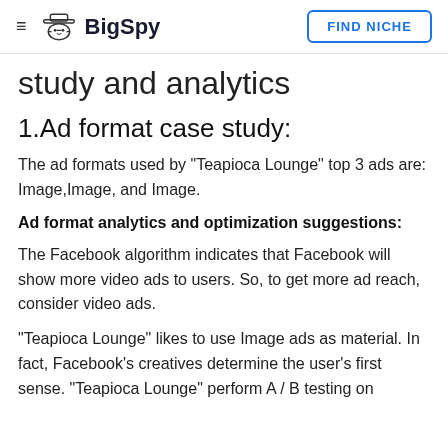BigSpy | FIND NICHE
study and analytics
1.Ad format case study:
The ad formats used by "Teapioca Lounge" top 3 ads are: Image,Image, and Image.
Ad format analytics and optimization suggestions:
The Facebook algorithm indicates that Facebook will show more video ads to users. So, to get more ad reach, consider video ads.
"Teapioca Lounge" likes to use Image ads as material. In fact, Facebook's creatives determine the user's first sense. "Teapioca Lounge" perform A / B testing on